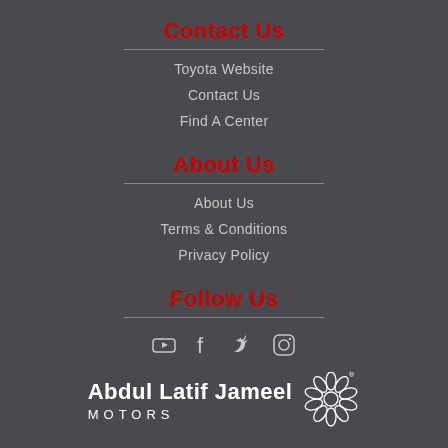Contact Us
Toyota Website
Contact Us
Find A Center
About Us
About Us
Terms & Conditions
Privacy Policy
Follow Us
[Figure (other): Social media icons: YouTube, Facebook, Twitter, Instagram]
[Figure (logo): Abdul Latif Jameel Motors logo with geometric flower icon]